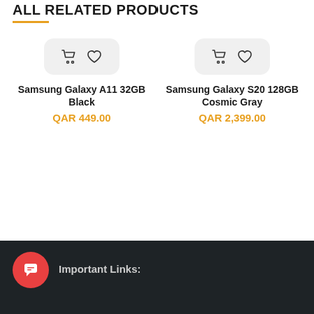ALL RELATED PRODUCTS
[Figure (screenshot): Product card for Samsung Galaxy A11 32GB Black with shopping cart and heart icons]
Samsung Galaxy A11 32GB Black
QAR 449.00
[Figure (screenshot): Product card for Samsung Galaxy S20 128GB Cosmic Gray with shopping cart and heart icons]
Samsung Galaxy S20 128GB Cosmic Gray
QAR 2,399.00
Important Links: